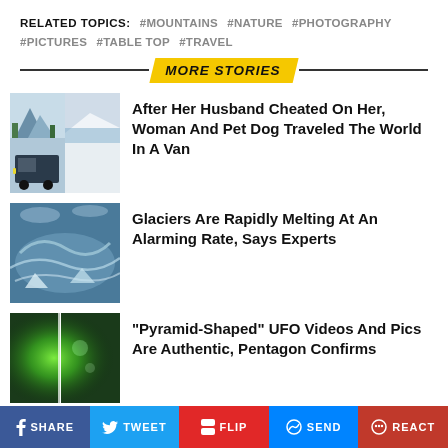RELATED TOPICS: #MOUNTAINS #NATURE #PHOTOGRAPHY #PICTURES #TABLE TOP #TRAVEL
MORE STORIES
[Figure (photo): Collage of van in mountains and snowy landscape]
After Her Husband Cheated On Her, Woman And Pet Dog Traveled The World In A Van
[Figure (photo): Aerial view of glaciers and icy landscape]
Glaciers Are Rapidly Melting At An Alarming Rate, Says Experts
[Figure (photo): Green glowing UFO light photograph]
“Pyramid-Shaped” UFO Videos And Pics Are Authentic, Pentagon Confirms
SHARE  TWEET  FLIP  SEND  REACT